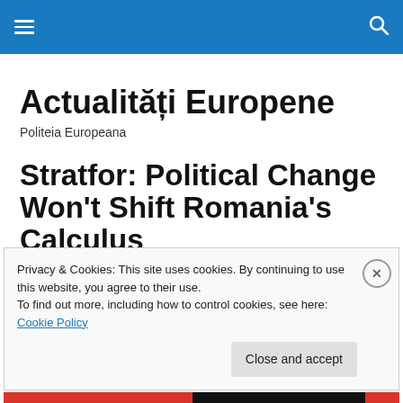navigation bar with hamburger menu and search icon
Actualități Europene
Politeia Europeana
Stratfor: Political Change Won't Shift Romania's Calculus
Privacy & Cookies: This site uses cookies. By continuing to use this website, you agree to their use.
To find out more, including how to control cookies, see here: Cookie Policy
Close and accept